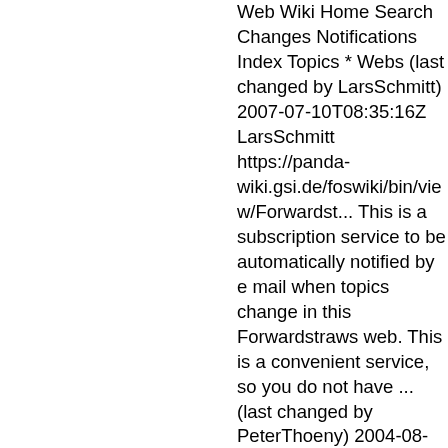Web Wiki Home Search Changes Notifications Index Topics * Webs (last changed by LarsSchmitt) 2007-07-10T08:35:16Z LarsSchmitt https://panda-wiki.gsi.de/foswiki/bin/view/Forwardst... This is a subscription service to be automatically notified by e mail when topics change in this Forwardstraws web. This is a convenient service, so you do not have ... (last changed by PeterThoeny) 2004-08-28T07:30:54Z PeterThoeny https://panda-wiki.gsi.de/foswiki/bin/view/Forwardst... PANDA Wiki's Forwardstraws web /view/Forwardstraws The Forwardstraws web of TWiki. TWiki is a Web Based